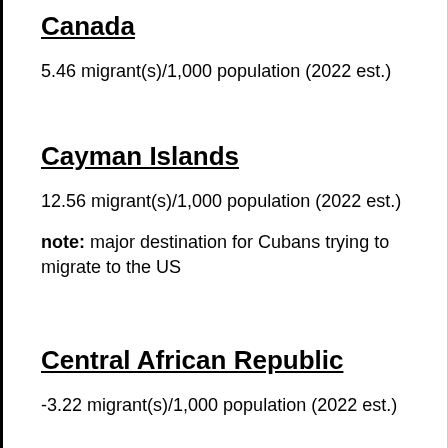Canada
5.46 migrant(s)/1,000 population (2022 est.)
Cayman Islands
12.56 migrant(s)/1,000 population (2022 est.)
note: major destination for Cubans trying to migrate to the US
Central African Republic
-3.22 migrant(s)/1,000 population (2022 est.)